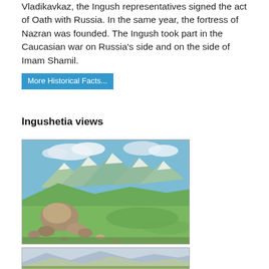Vladikavkaz, the Ingush representatives signed the act of Oath with Russia. In the same year, the fortress of Nazran was founded. The Ingush took part in the Caucasian war on Russia's side and on the side of Imam Shamil.
More Historical Facts...
Ingushetia views
[Figure (photo): Mountain landscape with green valley, large boulders in foreground, snow-capped peaks and blue sky in background]
[Figure (photo): Mountain landscape with hazy blue-grey mountains and green hills in foreground]